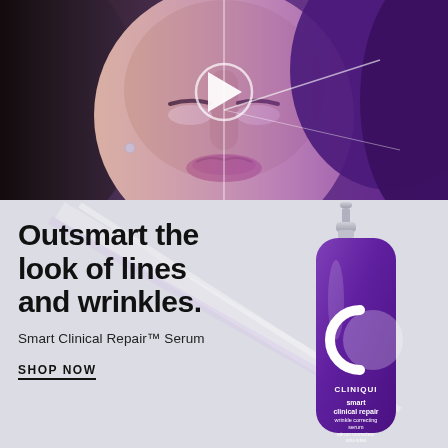[Figure (photo): Close-up of a woman's face split half natural/half purple-lit with a video play button overlay]
[Figure (illustration): Clinique Smart Clinical Repair Wrinkle Correcting Serum product bottle on purple/silver gradient background with light beam effects]
Outsmart the look of lines and wrinkles.
Smart Clinical Repair™ Serum
SHOP NOW